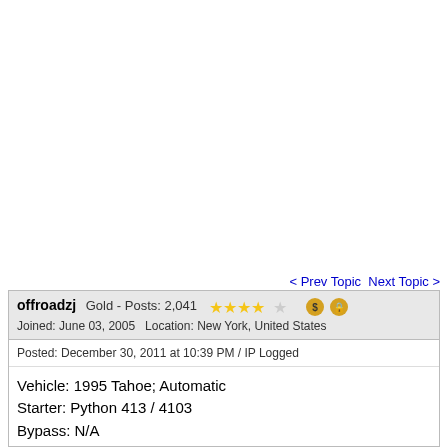< Prev Topic   Next Topic >
offroadzj   Gold - Posts: 2,041   ★★★★☆   $ 🔒
Joined: June 03, 2005   Location: New York, United States
Posted: December 30, 2011 at 10:39 PM / IP Logged
Vehicle: 1995 Tahoe; Automatic
Starter: Python 413 / 4103
Bypass: N/A